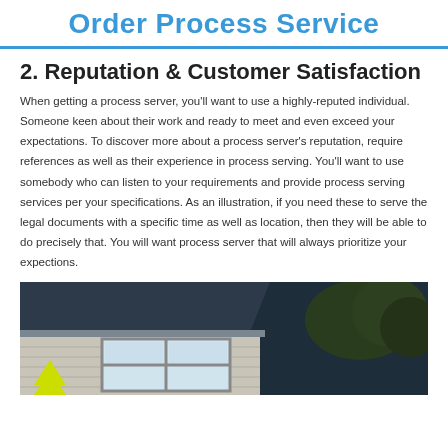Order Process Service
2. Reputation & Customer Satisfaction
When getting a process server, you'll want to use a highly-reputed individual. Someone keen about their work and ready to meet and even exceed your expectations. To discover more about a process server's reputation, require references as well as their experience in process serving. You'll want to use somebody who can listen to your requirements and provide process serving services per your specifications. As an illustration, if you need these to serve the legal documents with a specific time as well as location, then they will be able to do precisely that. You will want process server that will always prioritize your expections.
[Figure (photo): Exterior photo of a house showing the roof line, siding, windows, and trees in the background. A yellow arrow or marker is visible at the bottom left of the image.]